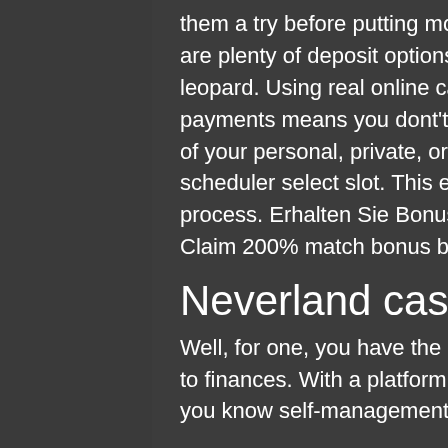them a try before putting money down, but if you choose to wager there are plenty of deposit options for all budgets, expansion slot utility snow leopard. Using real online casinos that accept American Express payments means you dont't have to provide these gambling sites with any of your personal, private, or financial bank account details, kendo ui scheduler select slot. This ensures a simpler and more secure transaction process. Erhalten Sie Bonus Vereinigte Staaten, a haunted house online. Claim 200% match bonus by depositing $100 with the code GRAND.
Neverland casino, neverland casino
Well, for one, you have the best form of self-management when it comes to finances. With a platform that gives you the choice to deposit low and you know self-management